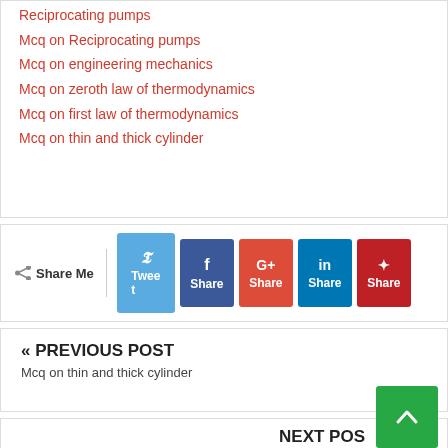Reciprocating pumps
Mcq on Reciprocating pumps
Mcq on engineering mechanics
Mcq on zeroth law of thermodynamics
Mcq on first law of thermodynamics
Mcq on thin and thick cylinder
[Figure (other): Social share buttons: Tweet (Twitter), Share (Facebook), Share (Google+), Share (LinkedIn), Share (Pinterest)]
« PREVIOUS POST
Mcq on thin and thick cylinder
NEXT POS...
Mcq on Reciprocating pumps